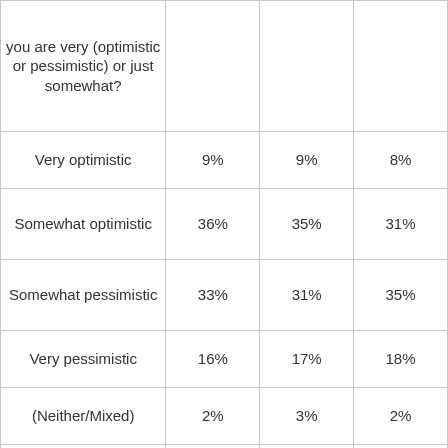|  |  |  |  |
| --- | --- | --- | --- |
| you are very (optimistic or pessimistic) or just somewhat? |  |  |  |
| Very optimistic | 9% | 9% | 8% |
| Somewhat optimistic | 36% | 35% | 31% |
| Somewhat pessimistic | 33% | 31% | 35% |
| Very pessimistic | 16% | 17% | 18% |
| (Neither/Mixed) | 2% | 3% | 2% |
| (Don't Know/Refused) | 4% | 5% | 6% |
| OPTIMISTIC |  |  |  |